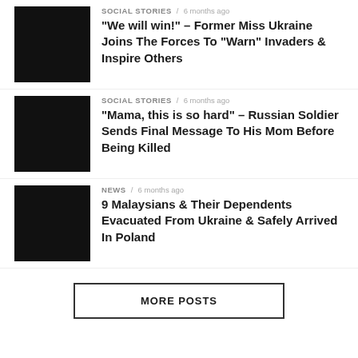[Figure (photo): Black thumbnail image for article 1]
SOCIAL STORIES / 6 months ago
“We will win!” – Former Miss Ukraine Joins The Forces To “Warn” Invaders & Inspire Others
[Figure (photo): Black thumbnail image for article 2]
SOCIAL STORIES / 6 months ago
“Mama, this is so hard” – Russian Soldier Sends Final Message To His Mom Before Being Killed
[Figure (photo): Black thumbnail image for article 3]
NEWS / 6 months ago
9 Malaysians & Their Dependents Evacuated From Ukraine & Safely Arrived In Poland
MORE POSTS